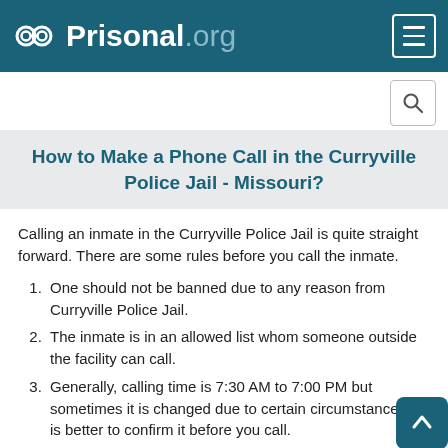Prisonal.org
How to Make a Phone Call in the Curryville Police Jail - Missouri?
Calling an inmate in the Curryville Police Jail is quite straight forward. There are some rules before you call the inmate.
One should not be banned due to any reason from Curryville Police Jail.
The inmate is in an allowed list whom someone outside the facility can call.
Generally, calling time is 7:30 AM to 7:00 PM but sometimes it is changed due to certain circumstances. It is better to confirm it before you call.